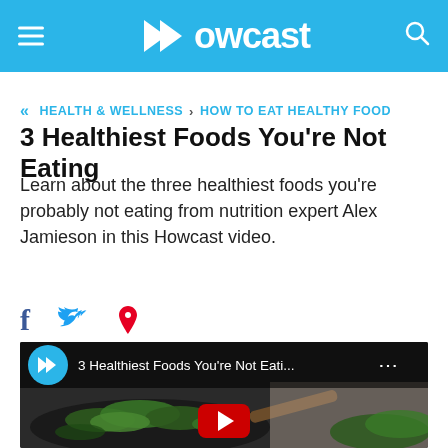Howcast
HEALTH & WELLNESS > HOW TO EAT HEALTHY FOOD
3 Healthiest Foods You're Not Eating
Learn about the three healthiest foods you're probably not eating from nutrition expert Alex Jamieson in this Howcast video.
[Figure (screenshot): Social sharing icons: Facebook (f), Twitter bird, Pinterest (p)]
[Figure (screenshot): Video thumbnail showing a pan with leafy greens, with Howcast logo circle overlay, title '3 Healthiest Foods You're Not Eati...' and YouTube play button at bottom]